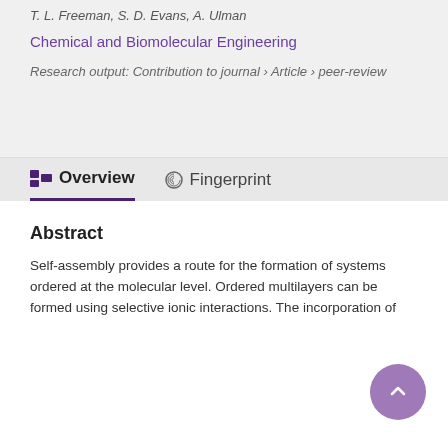T. L. Freeman, S. D. Evans, A. Ulman
Chemical and Biomolecular Engineering
Research output: Contribution to journal › Article › peer-review
Overview
Fingerprint
Abstract
Self-assembly provides a route for the formation of systems ordered at the molecular level. Ordered multilayers can be formed using selective ionic interactions. The incorporation of